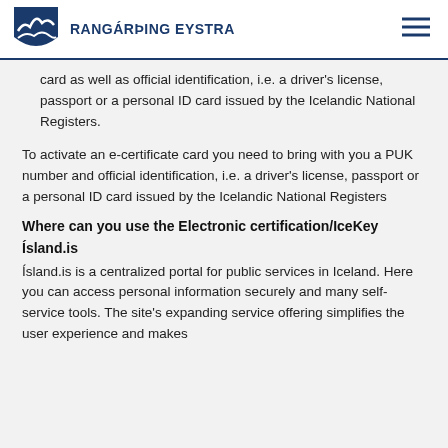RANGÁRÞING EYSTRA
card as well as official identification, i.e. a driver's license, passport or a personal ID card issued by the Icelandic National Registers.
To activate an e-certificate card you need to bring with you a PUK number and official identification, i.e. a driver's license, passport or a personal ID card issued by the Icelandic National Registers
Where can you use the Electronic certification/IceKey
Ísland.is
Ísland.is is a centralized portal for public services in Iceland. Here you can access personal information securely and many self-service tools. The site's expanding service offering simplifies the user experience and makes